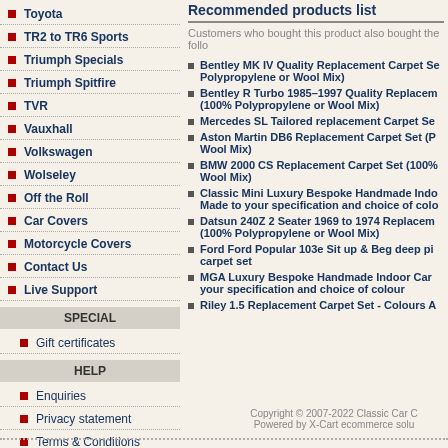Toyota
TR2 to TR6 Sports
Triumph Specials
Triumph Spitfire
TVR
Vauxhall
Volkswagen
Wolseley
Off the Roll
Car Covers
Motorcycle Covers
Contact Us
Live Support
SPECIAL
Gift certificates
HELP
Enquiries
Privacy statement
Terms & Conditions
Recommended products list
Customers who bought this product also bought the follo
Bentley MK IV Quality Replacement Carpet Se Polypropylene or Wool Mix)
Bentley R Turbo 1985-1997 Quality Replacem (100% Polypropylene or Wool Mix)
Mercedes SL Tailored replacement Carpet Se
Aston Martin DB6 Replacement Carpet Set (P Wool Mix)
BMW 2000 CS Replacement Carpet Set (100% Wool Mix)
Classic Mini Luxury Bespoke Handmade Indo Made to your specification and choice of colo
Datsun 240Z 2 Seater 1969 to 1974 Replacem (100% Polypropylene or Wool Mix)
Ford Ford Popular 103e Sit up & Beg deep pi carpet set
MGA Luxury Bespoke Handmade Indoor Car your specification and choice of colour
Riley 1.5 Replacement Carpet Set - Colours A
Copyright © 2007-2022 Classic Car C Powered by X-Cart ecommerce solu